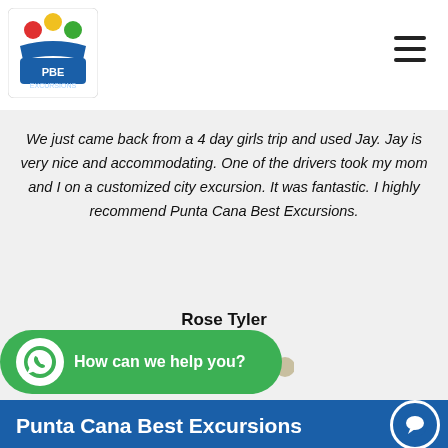[Figure (logo): PBE Punta Cana Best Excursions logo - colorful jester hat with palm tree]
We just came back from a 4 day girls trip and used Jay. Jay is very nice and accommodating. One of the drivers took my mom and I on a customized city excursion. It was fantastic. I highly recommend Punta Cana Best Excursions.
Rose Tyler
[Figure (other): Carousel navigation dots - 5 dots, first one active (dark gold), rest light gray]
Punta Cana Best Excursions
Experienced: Our friendly staff is knowledgeable about
[Figure (other): WhatsApp chat button - green pill shape with WhatsApp icon and 'How can we help you?' text]
Easy: We will make sure you get the service you expect from us